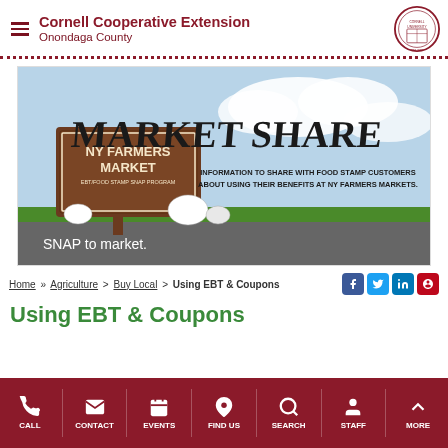Cornell Cooperative Extension Onondaga County
[Figure (illustration): Market Share banner image showing NY Farmers Market EBT/Food Stamp SNAP Program sign with illustrations of birds and animals, text reading MARKET SHARE Information to share with food stamp customers about using their benefits at NY Farmers Markets. Below is a green grass strip and a dark grey bar reading 'SNAP to market.']
Home » Agriculture > Buy Local > Using EBT & Coupons
Using EBT & Coupons
CALL | CONTACT | EVENTS | FIND US | SEARCH | STAFF | MORE